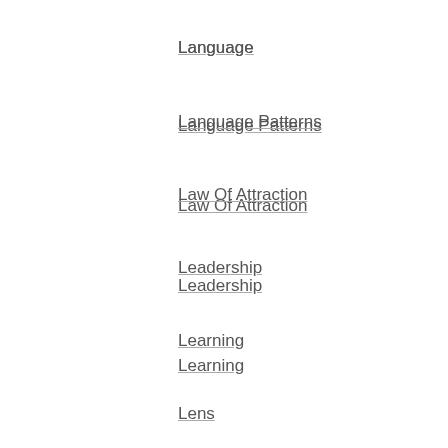Language
Language Patterns
Law Of Attraction
Leadership
Learning
Lens
Letdown
Life
Limitations
Limiting Beliefs
LOA
Loop
Loops